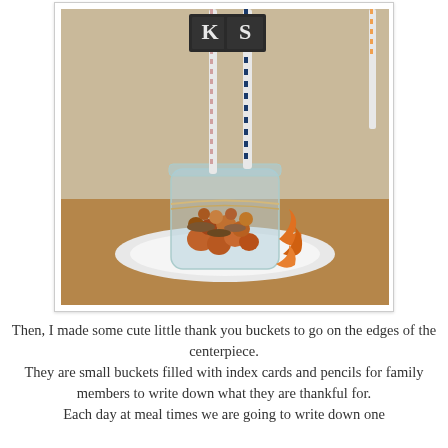[Figure (photo): A glass mason jar filled with acorns, small ornaments, and autumn decorations, sitting on a white plate. Two striped paper straws with dark chalkboard signs marked 'K' and 'S' stick out of the top, along with a third straw partially visible. Orange fall leaves decorate the edges.]
Then, I made some cute little thank you buckets to go on the edges of the centerpiece. They are small buckets filled with index cards and pencils for family members to write down what they are thankful for. Each day at meal times we are going to write down one